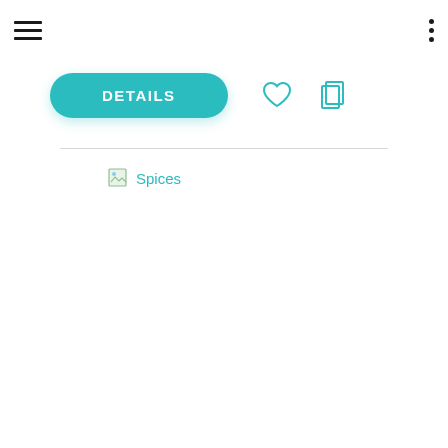hamburger menu | three dots menu
[Figure (screenshot): DETAILS button (teal/cyan pill-shaped) with heart icon and copy icon to the right]
[Figure (illustration): Broken image placeholder with label 'Spices']